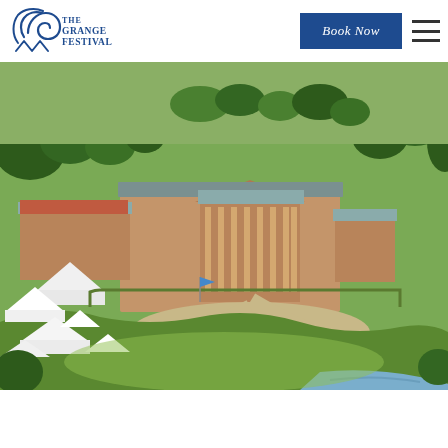[Figure (logo): The Grange Festival logo — stylized spiral icon in blue on the left, text 'THE GRANGE FESTIVAL' in blue serif letters on the right]
[Figure (other): Blue 'Book Now' button in the header navigation]
[Figure (other): Hamburger menu icon (three horizontal lines) in the header]
[Figure (photo): Aerial photograph of The Grange Festival estate — a large neoclassical building with Greek-revival columned portico surrounded by green parkland, white event tents visible on the left, a river or lake visible in the lower right corner, trees surrounding the estate on all sides]